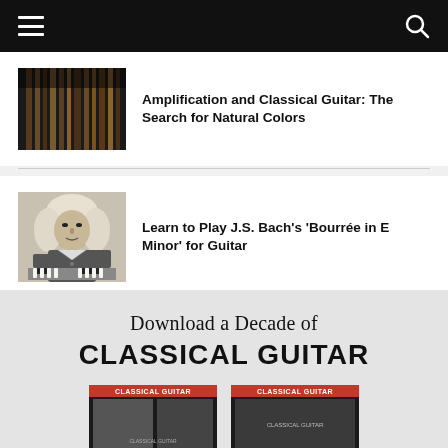Navigation bar with menu and search icons
[Figure (photo): Guitar strings or organ pipes, close-up photo]
Amplification and Classical Guitar: The Search for Natural Colors
[Figure (photo): Black and white portrait of J.S. Bach seated at keyboard]
Learn to Play J.S. Bach's 'Bourrée in E Minor' for Guitar
[Figure (illustration): Download a Decade of Classical Guitar promotional banner with magazine covers]
Download a Decade of CLASSICAL GUITAR